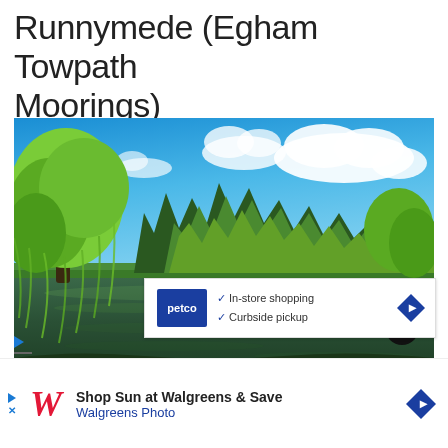Runnymede (Egham Towpath Moorings)
[Figure (photo): Scenic riverside photo showing weeping willow trees and other deciduous trees reflected in calm river water under a bright blue sky with white clouds. Lush green parkland visible in background.]
[Figure (screenshot): Petco advertisement overlay showing Petco logo, checkmarks for 'In-store shopping' and 'Curbside pickup', and a blue diamond navigation arrow]
[Figure (screenshot): Walgreens advertisement showing 'Shop Sun at Walgreens & Save' with Walgreens Photo text and blue diamond navigation arrow]